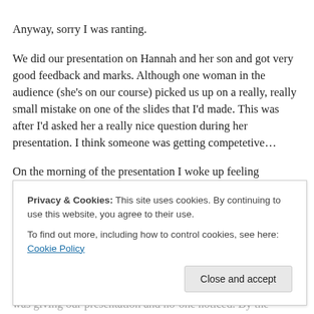Anyway, sorry I was ranting.
We did our presentation on Hannah and her son and got very good feedback and marks. Although one woman in the audience (she’s on our course) picked us up on a really, really small mistake on one of the slides that I’d made. This was after I’d asked her a really nice question during her presentation. I think someone was getting competetive…
On the morning of the presentation I woke up feeling
was giving our presentation and no-one noticed. By the
Privacy & Cookies: This site uses cookies. By continuing to use this website, you agree to their use.
To find out more, including how to control cookies, see here: Cookie Policy
[Close and accept]